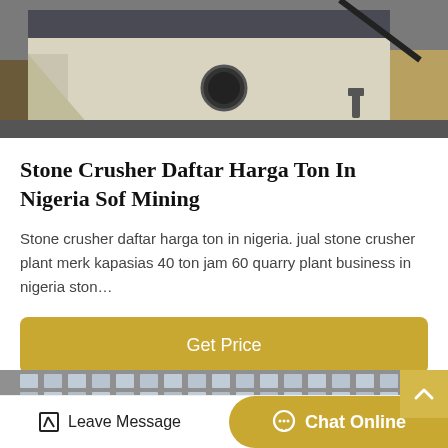[Figure (photo): Close-up of a stone crusher machine, cream/white colored metal frame with a circular hole, dark grey structural body, industrial equipment]
Stone Crusher Daftar Harga Ton In Nigeria Sof Mining
Stone crusher daftar harga ton in nigeria. jual stone crusher plant merk kapasias 40 ton jam 60 quarry plant business in nigeria ston…
Get Price
[Figure (photo): Exterior of a multi-story building with grid windows, urban architecture]
Leave Message   Chat Online